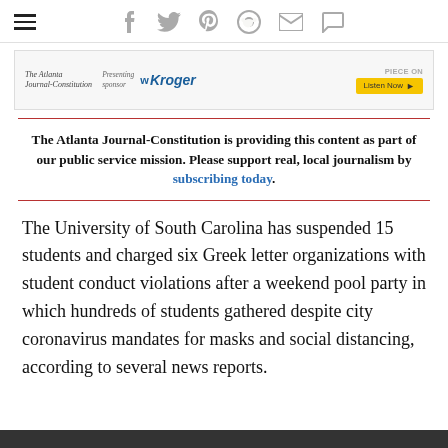Navigation bar with hamburger menu and social icons (facebook, twitter, pinterest, reddit, mail, chat)
[Figure (other): Atlanta Journal-Constitution advertisement banner with Kroger as presenting sponsor and a Listen Now button]
The Atlanta Journal-Constitution is providing this content as part of our public service mission. Please support real, local journalism by subscribing today.
The University of South Carolina has suspended 15 students and charged six Greek letter organizations with student conduct violations after a weekend pool party in which hundreds of students gathered despite city coronavirus mandates for masks and social distancing, according to several news reports.